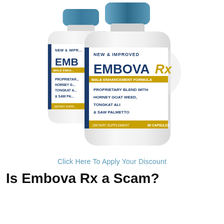[Figure (photo): Two white supplement bottles labeled EmbovaRx Male Enhancement Formula with blue caps, showing proprietary blend with Horney Goat Weed, Tongkat Ali & Saw Palmetto, 60 capsules, New & Improved]
Click Here To Apply Your Discount
Is Embova Rx a Scam?